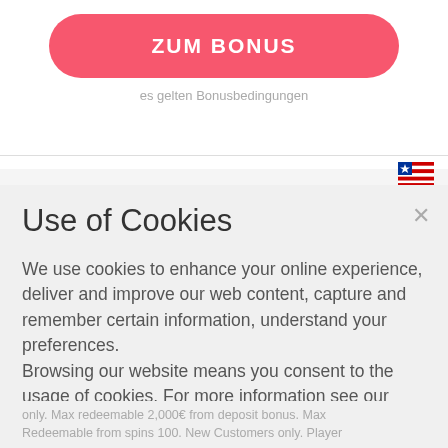[Figure (other): Pink rounded button labeled ZUM BONUS]
es gelten Bonusbedingungen
[Figure (other): US/Liberia flag icon in top right corner]
Use of Cookies
We use cookies to enhance your online experience, deliver and improve our web content, capture and remember certain information, understand your preferences.
Browsing our website means you consent to the usage of cookies. For more information see our privacy policy.
[Figure (other): I AGREE button with orange border and text]
only. Max redeemable 2,000€ from deposit bonus. Max Redeemable from spins 100. New Customers only. Player